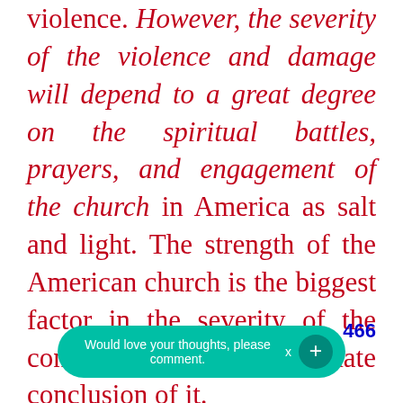violence. However, the severity of the violence and damage will depend to a great degree on the spiritual battles, prayers, and engagement of the church in America as salt and light. The strength of the American church is the biggest factor in the severity of the conflict and the ultimate conclusion of it.

In both the American Revolutionary War and the Civil War, Great Awakenings preceded the conflicts. To a